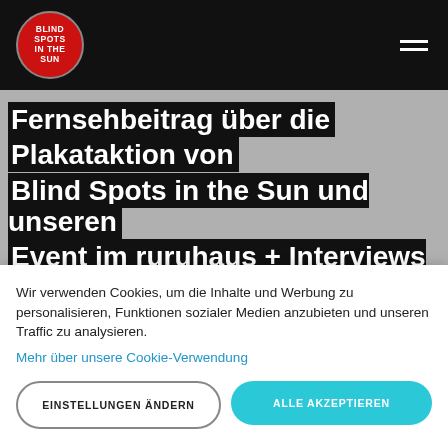[Figure (logo): Blind Spots in the Sun red circle logo with white text]
Fernsehbeitrag über die Plakataktion von Blind Spots in the Sun und unseren Event im ruruhaus + Interviews mit Prinzessin Marilyn
Wir verwenden Cookies, um die Inhalte und Werbung zu personalisieren, Funktionen sozialer Medien anzubieten und unseren Traffic zu analysieren.
Mehr über unsere Cookie-Verwendung
EINSTELLUNGEN ÄNDERN
ALLE AKZEPTIEREN